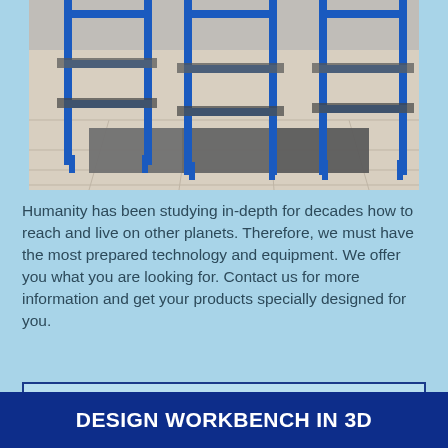[Figure (photo): Photograph of blue metal industrial workbenches/shelving units on a tiled floor in a workshop or laboratory setting.]
Humanity has been studying in-depth for decades how to reach and live on other planets. Therefore, we must have the most prepared technology and equipment. We offer you what you are looking for. Contact us for more information and get your products specially designed for you.
SEE OUR CUSTOM AEROSPACE FURNITURE NOW
DESIGN WORKBENCH IN 3D